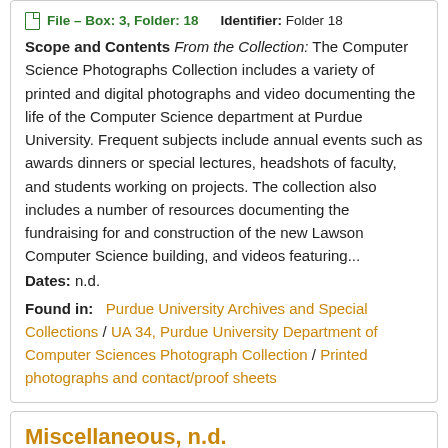File – Box: 3, Folder: 18    Identifier: Folder 18
Scope and Contents From the Collection: The Computer Science Photographs Collection includes a variety of printed and digital photographs and video documenting the life of the Computer Science department at Purdue University. Frequent subjects include annual events such as awards dinners or special lectures, headshots of faculty, and students working on projects. The collection also includes a number of resources documenting the fundraising for and construction of the new Lawson Computer Science building, and videos featuring...
Dates: n.d.
Found in:   Purdue University Archives and Special Collections / UA 34, Purdue University Department of Computer Sciences Photograph Collection / Printed photographs and contact/proof sheets
Miscellaneous, n.d.
File – Box: 3, Folder: 19    Identifier: Folder 19
Scope and Contents From the Collection: The